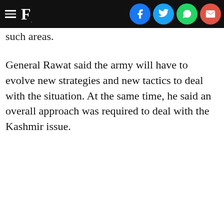F. [social share icons: Facebook, Twitter, WhatsApp, Email]
such areas.
General Rawat said the army will have to evolve new strategies and new tactics to deal with the situation. At the same time, he said an overall approach was required to deal with the Kashmir issue.